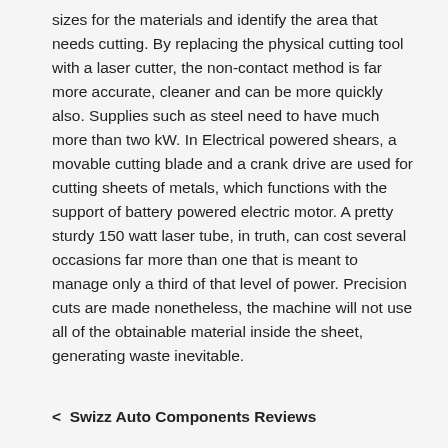sizes for the materials and identify the area that needs cutting. By replacing the physical cutting tool with a laser cutter, the non-contact method is far more accurate, cleaner and can be more quickly also. Supplies such as steel need to have much more than two kW. In Electrical powered shears, a movable cutting blade and a crank drive are used for cutting sheets of metals, which functions with the support of battery powered electric motor. A pretty sturdy 150 watt laser tube, in truth, can cost several occasions far more than one that is meant to manage only a third of that level of power. Precision cuts are made nonetheless, the machine will not use all of the obtainable material inside the sheet, generating waste inevitable.
< Swizz Auto Components Reviews